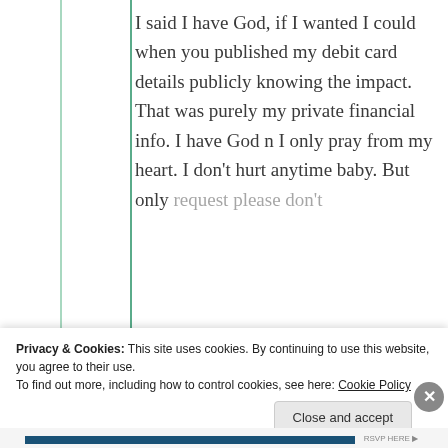I said I have God, if I wanted I could when you published my debit card details publicly knowing the impact. That was purely my private financial info. I have God n I only pray from my heart. I don't hurt anytime baby. But only request please don't
Privacy & Cookies: This site uses cookies. By continuing to use this website, you agree to their use.
To find out more, including how to control cookies, see here: Cookie Policy